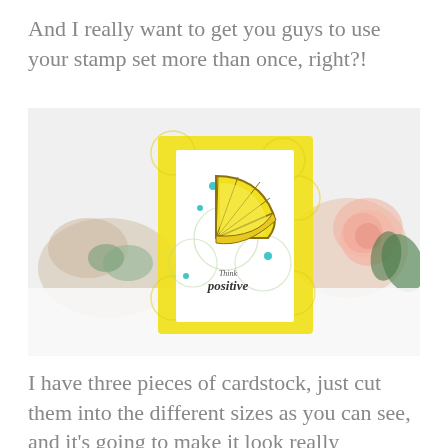And I really want to get you guys to use your stamp set more than once, right?!
[Figure (photo): A handmade greeting card featuring a bright yellow lemon slice stamp on a white panel, layered on yellow cardstock with lemon circle background stamps. The card reads 'Think positive' in cursive script. The card is displayed on a white surface surrounded by pink flowers and green succulents.]
I have three pieces of cardstock, just cut them into the different sizes as you can see, and it's going to make it look really